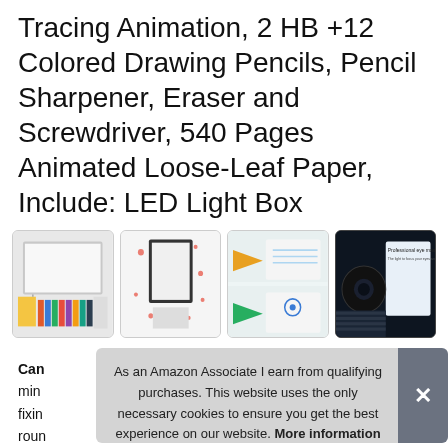Tracing Animation, 2 HB +12 Colored Drawing Pencils, Pencil Sharpener, Eraser and Screwdriver, 540 Pages Animated Loose-Leaf Paper, Include: LED Light Box
[Figure (photo): Four product thumbnail images showing LED light box kit with accessories, light box with paper, step-by-step animation tracing demo, and professional eye protection feature]
Can
min
fixin
roun
The combo contains 1 light pad, 1eraser, 540 pages of flip
As an Amazon Associate I earn from qualifying purchases. This website uses the only necessary cookies to ensure you get the best experience on our website. More information